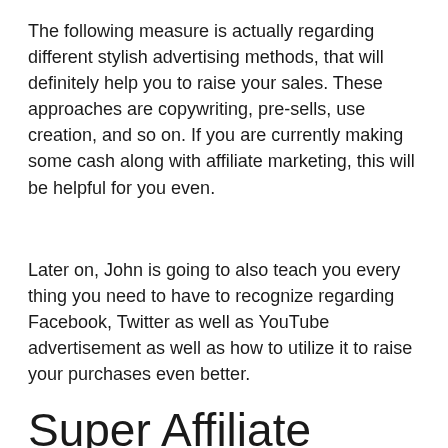The following measure is actually regarding different stylish advertising methods, that will definitely help you to raise your sales. These approaches are copywriting, pre-sells, use creation, and so on. If you are currently making some cash along with affiliate marketing, this will be helpful for you even.
Later on, John is going to also teach you every thing you need to have to recognize regarding Facebook, Twitter as well as YouTube advertisement as well as how to utilize it to raise your purchases even better.
Super Affiliate